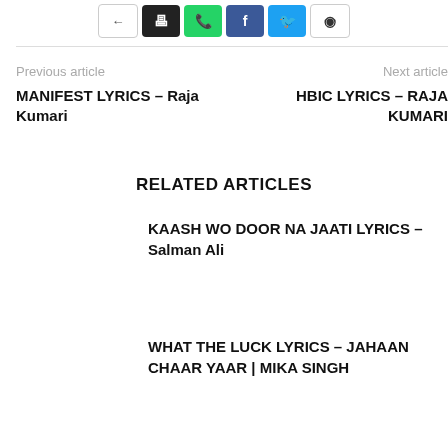[Figure (other): Social share buttons row: back arrow (white), print (black), WhatsApp (green), Facebook (blue), Twitter (cyan), bookmark (white border)]
Previous article
Next article
MANIFEST LYRICS – Raja Kumari
HBIC LYRICS – RAJA KUMARI
RELATED ARTICLES
KAASH WO DOOR NA JAATI LYRICS – Salman Ali
WHAT THE LUCK LYRICS – JAHAAN CHAAR YAAR | MIKA SINGH